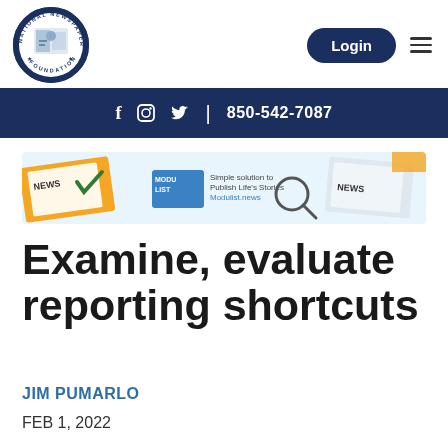[Figure (logo): National Newspaper Association Foundation circular logo with dark blue border and white interior]
Login
f  Instagram  Twitter  |  850-542-7087
[Figure (screenshot): Modulist banner advertisement: Simple solution to Publish Life's Stories. Modulist.news]
Examine, evaluate reporting shortcuts
JIM PUMARLO
FEB 1, 2022